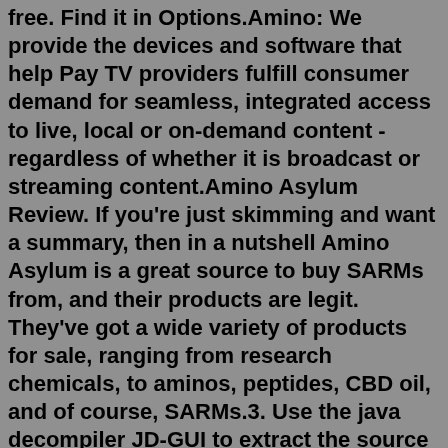free. Find it in Options.Amino: We provide the devices and software that help Pay TV providers fulfill consumer demand for seamless, integrated access to live, local or on-demand content - regardless of whether it is broadcast or streaming content.Amino Asylum Review. If you're just skimming and want a summary, then in a nutshell Amino Asylum is a great source to buy SARMs from, and their products are legit. They've got a wide variety of products for sale, ranging from research chemicals, to aminos, peptides, CBD oil, and of course, SARMs.3. Use the java decompiler JD-GUI to extract the source code from the jar file. use JD-GUI to extract from the jar file. 4. View the source files or save them by going to File > Save all sources. reverse engineered java code from signed APK. The java code is not perfect, but it gives you a much better idea than the dalvik code.Jul 20, 2021 · Amino latest version: Chat and bond with your community for free. Amino: Communities and Chats app is a fre. ... Amino APK for Android. Free; In English; V 3.4.33458 ... Aug 01, 2022 · Download